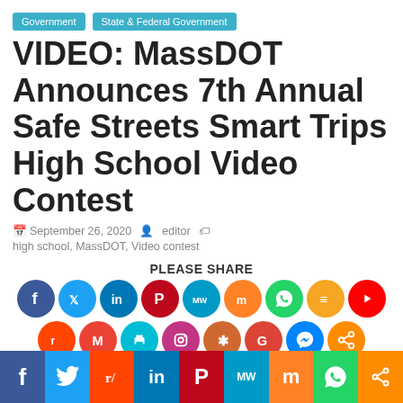Government | State & Federal Government
VIDEO: MassDOT Announces 7th Annual Safe Streets Smart Trips High School Video Contest
September 26, 2020   editor   high school, MassDOT, Video contest
[Figure (infographic): Social media share buttons row 1: Facebook, Twitter, LinkedIn, Pinterest, MeWe, Mix, WhatsApp, Flipboard, YouTube]
[Figure (infographic): Social media share buttons row 2: Reddit, Gmail, Print, Instagram, Plurk, Google, Messenger, Share]
[Figure (infographic): Bottom share bar: Facebook, Twitter, Reddit, LinkedIn, Pinterest, MeWe, Mix, WhatsApp, Share]